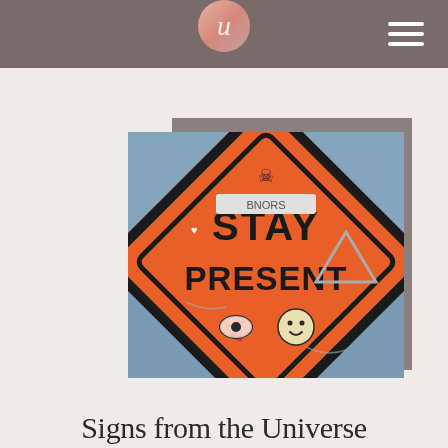u (logo) — navigation header
[Figure (photo): An orange diamond-shaped road construction sign reading 'STAY PRESENT' with various stickers including a skull, heart with eye, and smiley face. Set against a blue sky background. Gray rectangle behind the photo creates a layered shadow effect.]
Signs from the Universe